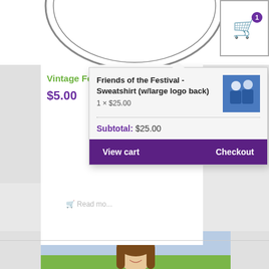[Figure (logo): Circular stamp logo with text 'Here's to the Hero' visible at top, partial view]
[Figure (screenshot): Shopping cart icon with purple badge showing number 1]
Vintage Festival Pi
$5.00
[Figure (screenshot): Cart dropdown popup showing: Friends of the Festival - Sweatshirt (w/large logo back), 1 x $25.00, thumbnail of two people in blue sweatshirts, Subtotal: $25.00, View cart and Checkout buttons]
Friends of the Festival - Sweatshirt (w/large logo back)
1 × $25.00
Subtotal: $25.00
View cart
Checkout
Apparel
[Figure (photo): Partial photo of smiling young woman with long brown hair, outdoors]